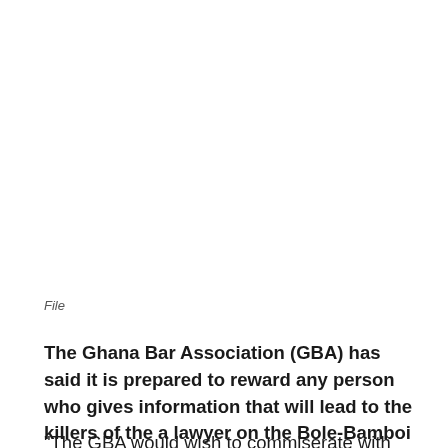File
The Ghana Bar Association (GBA) has said it is prepared to reward any person who gives information that will lead to the killers of the a lawyer on the Bole-Bamboi highway.
“The GBA would wish to commiserate with the families